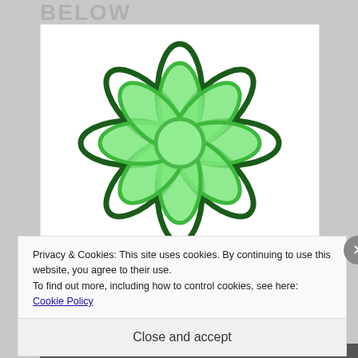BELOW
[Figure (logo): Green Celtic knot / mandala flower logo with dark green outer petals and bright light green inner petal ring, on white background]
Privacy & Cookies: This site uses cookies. By continuing to use this website, you agree to their use.
To find out more, including how to control cookies, see here: Cookie Policy
Close and accept